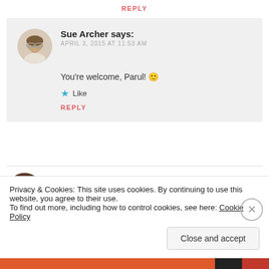REPLY
Sue Archer says: APRIL 3, 2015 AT 11:53 AM
You're welcome, Parul! 🙂
Like
REPLY
njmagas says: APRIL 3, 2015 AT 9:36 AM
Privacy & Cookies: This site uses cookies. By continuing to use this website, you agree to their use. To find out more, including how to control cookies, see here: Cookie Policy
Close and accept